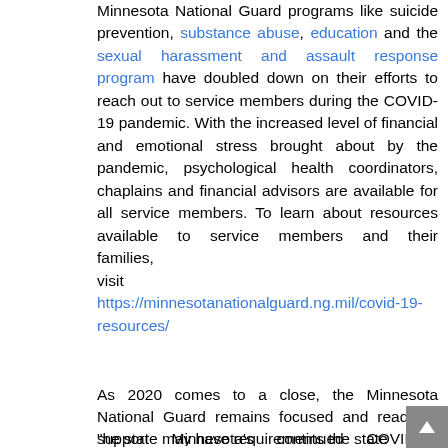Minnesota National Guard programs like suicide prevention, substance abuse, education and the sexual harassment and assault response program have doubled down on their efforts to reach out to service members during the COVID-19 pandemic. With the increased level of financial and emotional stress brought about by the pandemic, psychological health coordinators, chaplains and financial advisors are available for all service members. To learn about resources available to service members and their families, visit https://minnesotanationalguard.ng.mil/covid-19-resources/
As 2020 comes to a close, the Minnesota National Guard remains focused and ready to support Minnesota's continued COVID-19 response, and any other requirements the state may have.